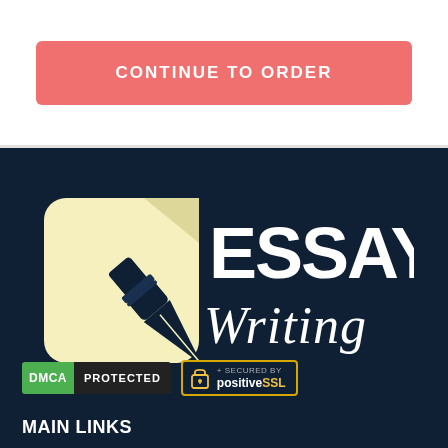CONTINUE TO ORDER
[Figure (logo): Essay Writing logo with a fountain pen on a yellow notepad background and the text 'ESSAY Writing' in white on dark navy background]
[Figure (infographic): DMCA PROTECTED badge in green and black]
[Figure (infographic): Secured by positiveSSL badge with lock icon, yellow border]
MAIN LINKS